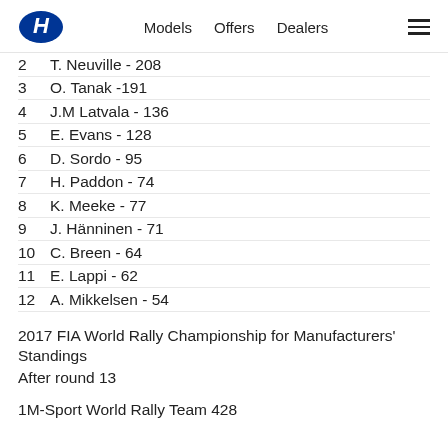Models  Offers  Dealers
2  T. Neuville - 208
3  O. Tanak -191
4  J.M Latvala - 136
5  E. Evans - 128
6  D. Sordo - 95
7  H. Paddon - 74
8  K. Meeke - 77
9  J. Hänninen - 71
10  C. Breen - 64
11  E. Lappi - 62
12  A. Mikkelsen  - 54
2017 FIA World Rally Championship for Manufacturers' Standings
After round 13
1  M-Sport World Rally Team 428